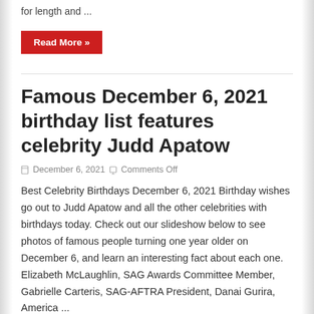for length and ...
Read More »
Famous December 6, 2021 birthday list features celebrity Judd Apatow
December 6, 2021   Comments Off
Best Celebrity Birthdays December 6, 2021 Birthday wishes go out to Judd Apatow and all the other celebrities with birthdays today. Check out our slideshow below to see photos of famous people turning one year older on December 6, and learn an interesting fact about each one. Elizabeth McLaughlin, SAG Awards Committee Member, Gabrielle Carteris, SAG-AFTRA President, Danai Gurira, America ...